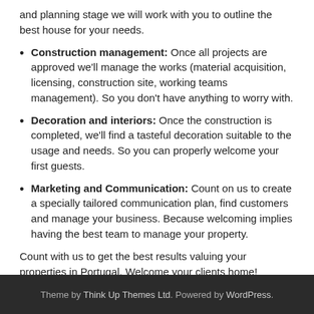and planning stage we will work with you to outline the best house for your needs.
Construction management: Once all projects are approved we'll manage the works (material acquisition, licensing, construction site, working teams management). So you don't have anything to worry with.
Decoration and interiors: Once the construction is completed, we'll find a tasteful decoration suitable to the usage and needs. So you can properly welcome your first guests.
Marketing and Communication: Count on us to create a specially tailored communication plan, find customers and manage your business. Because welcoming implies having the best team to manage your property.
Count with us to get the best results valuing your properties in Portugal. Welcome your clients home!
Theme by Think Up Themes Ltd. Powered by WordPress.